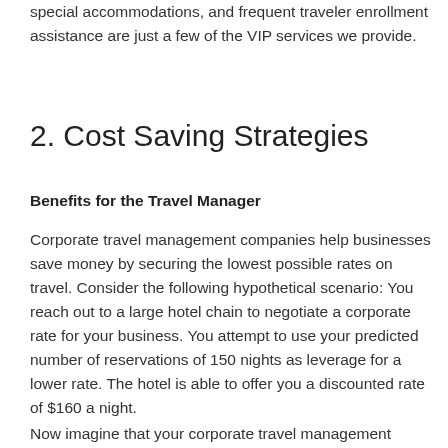special accommodations, and frequent traveler enrollment assistance are just a few of the VIP services we provide.
2.  Cost Saving Strategies
Benefits for the Travel Manager
Corporate travel management companies help businesses save money by securing the lowest possible rates on travel. Consider the following hypothetical scenario: You reach out to a large hotel chain to negotiate a corporate rate for your business. You attempt to use your predicted number of reservations of 150 nights as leverage for a lower rate. The hotel is able to offer you a discounted rate of $160 a night.
Now imagine that your corporate travel management